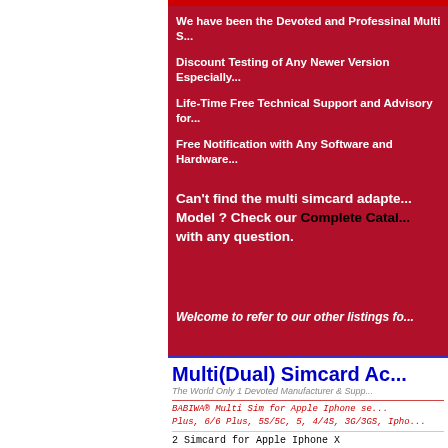We have been the Devoted and Professinal Multi S...
Discount Testing of Any Newer Version Especially...
Life-Time Free Technical Support and Advisory for...
Free Notification with Any Software and Hardware...
Can't find the multi simcard adapter for your Model ? Check our Complete Catalog... with any question.
Welcome to refer to our other listings fo...
Multi(Dual) Simcard Ac...
The World Only 1 Devoted Manufacturer & Supp...
BABIWA® Multi Sim for Apple Iphone se... Plus, 6/6 Plus, 5S/5C, 5, 4/4S, 3G/3GS, Ipho...
2 Simcard for Apple Iphone X
3 Simcard for Apple Iphone X
2 Simcard for Apple Iphone 8/8 plus &...
3 Simcard for Apple Iphone 8/8 plus...